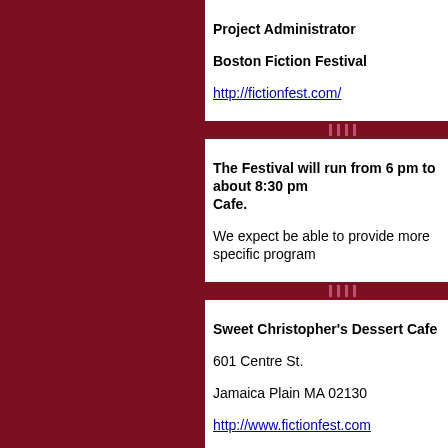Project Administrator
Boston Fiction Festival
http://fictionfest.com/
The Festival will run from 6 pm to about 8:30 pm Cafe.
We expect be able to provide more specific program
Sweet Christopher's Dessert Cafe
601 Centre St.
Jamaica Plain MA 02130
http://www.fictionfest.com
Sweet Christopher's is located in the neighborhood accessible by the MBTA 39 bus route that runs from There are also a couple of large public parking lots
Thomas Ra
autho
Zoro's Field: My LIfe in th
"a Walden f